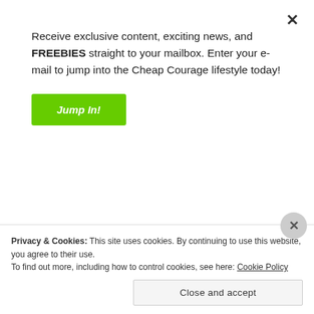Receive exclusive content, exciting news, and FREEBIES straight to your mailbox. Enter your e-mail to jump into the Cheap Courage lifestyle today!
Jump In!
2 thoughts on “Friendship as an Accomplishment + Finding Your Own Accomplishments”
Privacy & Cookies: This site uses cookies. By continuing to use this website, you agree to their use.
To find out more, including how to control cookies, see here: Cookie Policy
Close and accept